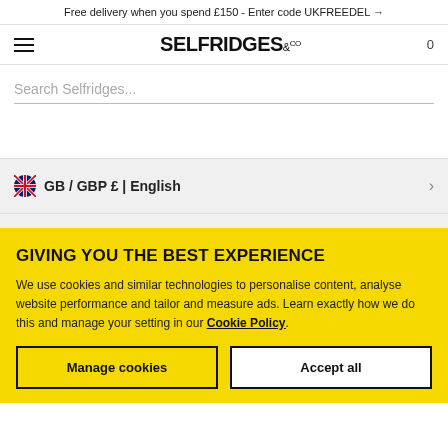Free delivery when you spend £150 - Enter code UKFREEDEL →
SELFRIDGES &CO
Search Selfridges...
GB / GBP £ | English
GIVING YOU THE BEST EXPERIENCE
We use cookies and similar technologies to personalise content, analyse website performance and tailor and measure ads. Learn exactly how we do this and manage your setting in our Cookie Policy.
Manage cookies
Accept all